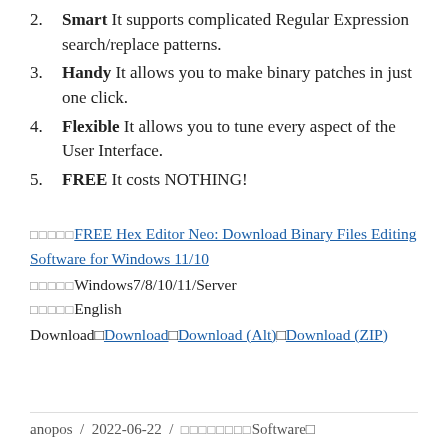2. Smart It supports complicated Regular Expression search/replace patterns.
3. Handy It allows you to make binary patches in just one click.
4. Flexible It allows you to tune every aspect of the User Interface.
5. FREE It costs NOTHING!
□□□□□FREE Hex Editor Neo: Download Binary Files Editing Software for Windows 11/10
□□□□□Windows7/8/10/11/Server
□□□□□English
Download□Download□Download (Alt)□Download (ZIP)
anopos / 2022-06-22 / □□□□□□□□Software□